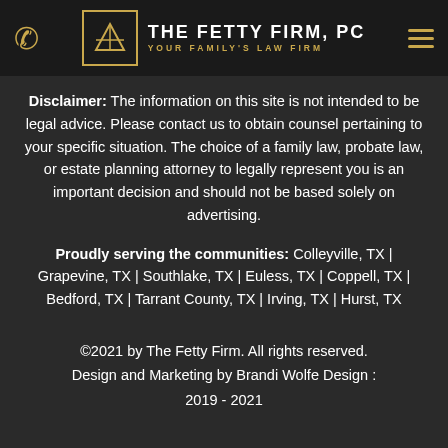THE FETTY FIRM, PC — YOUR FAMILY'S LAW FIRM
Disclaimer: The information on this site is not intended to be legal advice. Please contact us to obtain counsel pertaining to your specific situation. The choice of a family law, probate law, or estate planning attorney to legally represent you is an important decision and should not be based solely on advertising.
Proudly serving the communities: Colleyville, TX | Grapevine, TX | Southlake, TX | Euless, TX | Coppell, TX | Bedford, TX | Tarrant County, TX | Irving, TX | Hurst, TX
©2021 by The Fetty Firm. All rights reserved.
Design and Marketing by Brandi Wolfe Design : 2019 - 2021